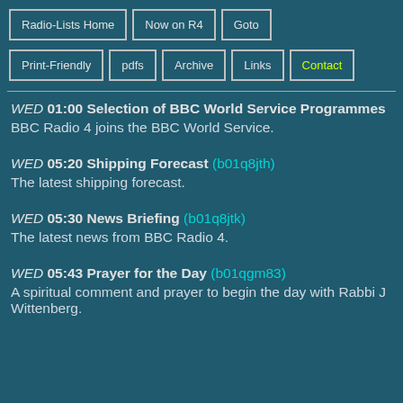Radio-Lists Home | Now on R4 | Goto | Print-Friendly | pdfs | Archive | Links | Contact
WED 01:00 Selection of BBC World Service Programmes
BBC Radio 4 joins the BBC World Service.
WED 05:20 Shipping Forecast (b01q8jth)
The latest shipping forecast.
WED 05:30 News Briefing (b01q8jtk)
The latest news from BBC Radio 4.
WED 05:43 Prayer for the Day (b01qgm83)
A spiritual comment and prayer to begin the day with Rabbi J Wittenberg.